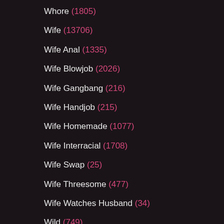Whore (1805)
Wife (13706)
Wife Anal (1335)
Wife Blowjob (2026)
Wife Gangbang (216)
Wife Handjob (215)
Wife Homemade (1077)
Wife Interracial (1708)
Wife Swap (25)
Wife Threesome (477)
Wife Watches Husband (34)
Wild (749)
Window (118)
Working (141)
Workout (173)
Worship (888)